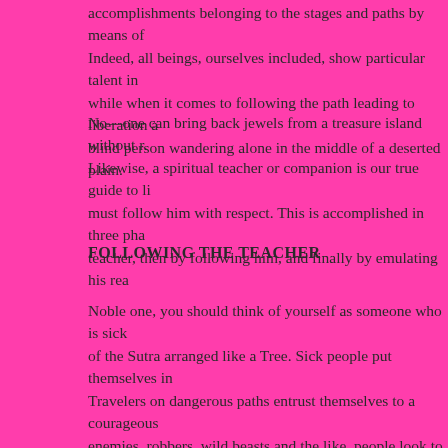accomplishments belonging to the stages and paths by means of. Indeed, all beings, ourselves included, show particular talent in while when it comes to following the path leading to liberation blind person wandering alone in the middle of a deserted plain.
No—one can bring back jewels from a treasure island without n. Likewise, a spiritual teacher or companion is our true guide to li must follow him with respect. This is accomplished in three pha teacher, then by following him, and finally by emulating his rea
FOLLOWING THE TEACHER
Noble one, you should think of yourself as someone who is sick of the Sutra arranged like a Tree. Sick people put themselves in Travelers on dangerous paths entrust themselves to a courageous enemies, robbers, wild beasts and the like, people look to a com heading for the lands across the ocean entrust themselves to a ca cross a river entrust themselves to the boatmen. In the same way and negative emotions, we must follow a teacher, a spiritual frie